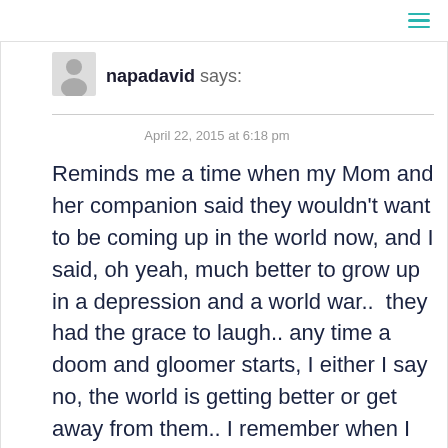≡
[Figure (illustration): Grey silhouette avatar icon of a person]
napadavid says:
April 22, 2015 at 6:18 pm
Reminds me a time when my Mom and her companion said they wouldn't want to be coming up in the world now, and I said, oh yeah, much better to grow up in a depression and a world war..  they had the grace to laugh.. any time a doom and gloomer starts, I either I say no, the world is getting better or get away from them.. I remember when I said to a friend after getting over a brutal pneumonia, I wonder what happened a 100 years ago when